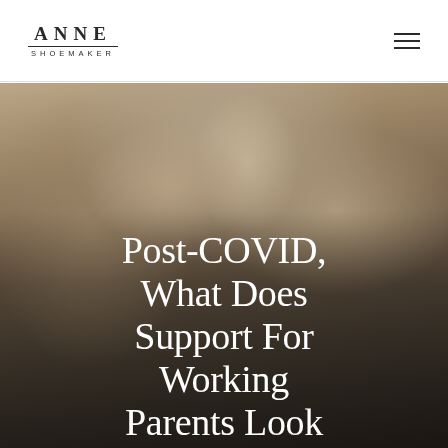ANNE SHOEMAKER
[Figure (photo): A mother leaning over a young child, soft warm tones, lifestyle photography, with large white serif text overlay reading 'Post-COVID, What Does Support For Working Parents Look']
Post-COVID, What Does Support For Working Parents Look